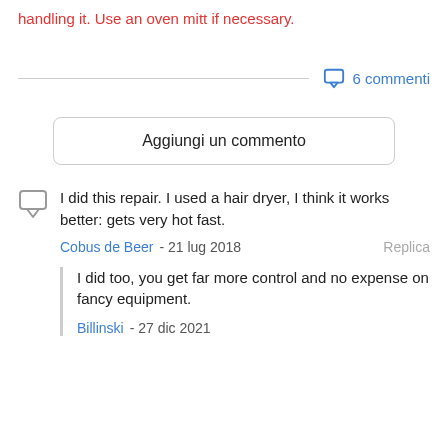handling it. Use an oven mitt if necessary.
6 commenti
Aggiungi un commento
I did this repair. I used a hair dryer, I think it works better: gets very hot fast.
Cobus de Beer - 21 lug 2018   Replica
I did too, you get far more control and no expense on fancy equipment.
Billinski - 27 dic 2021